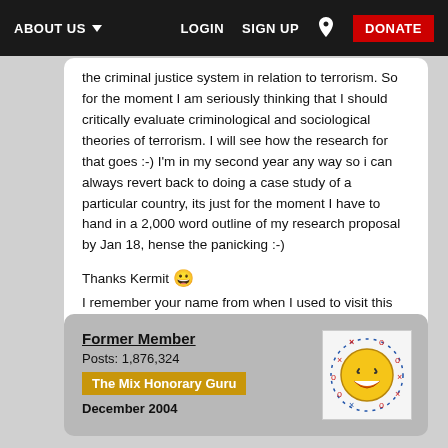ABOUT US  LOGIN  SIGN UP  DONATE
the criminal justice system in relation to terrorism. So for the moment I am seriously thinking that I should critically evaluate criminological and sociological theories of terrorism. I will see how the research for that goes :-) I'm in my second year any way so i can always revert back to doing a case study of a particular country, its just for the moment I have to hand in a 2,000 word outline of my research proposal by Jan 18, hense the panicking :-)

Thanks Kermit 😀
I remember your name from when I used to visit this site two years ago, my name was tre0127, but I didn't post that much. Nice to see you are still here, giving great advice 😀
Former Member
Posts: 1,876,324
The Mix Honorary Guru
December 2004